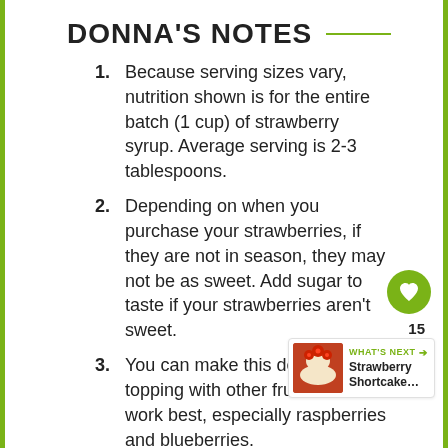DONNA'S NOTES
Because serving sizes vary, nutrition shown is for the entire batch (1 cup) of strawberry syrup. Average serving is 2-3 tablespoons.
Depending on when you purchase your strawberries, if they are not in season, they may not be as sweet. Add sugar to taste if your strawberries aren't sweet.
You can make this dessert topping with other fruits. Berries work best, especially raspberries and blueberries.
NUTRITION